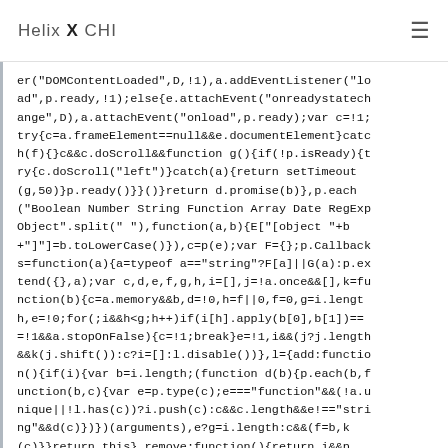Helix X CHI
er("DOMContentLoaded",D,!1),a.addEventListener("load",p.ready,!1);else{e.attachEvent("onreadystatechange",D),a.attachEvent("onload",p.ready);var c=!1;try{c=a.frameElement==null&&e.documentElement}catch(f){}c&&c.doScroll&&function g(){if(!p.isReady){try{c.doScroll("left")}catch(a){return setTimeout(g,50)}p.ready()}}()}return d.promise(b)},p.each("Boolean Number String Function Array Date RegExp Object".split(" "),function(a,b){E["[object "+b+"]"]=b.toLowerCase()}),c=p(e);var F={};p.Callbacks=function(a){a=typeof a=="string"?F[a]||G(a):p.extend({},a);var c,d,e,f,g,h,i=[],j=!a.once&&[],k=function(b){c=a.memory&&b,d=!0,h=f||0,f=0,g=i.length,e=!0;for(;i&&h<g;h++)if(i[h].apply(b[0],b[1])===!1&&a.stopOnFalse){c=!1;break}e=!1,i&&(j?j.length&&k(j.shift()):c?i=[]:l.disable())},l={add:function(){if(i){var b=i.length;(function d(b){p.each(b,function(b,c){var e=p.type(c);e==="function"&&(!a.unique||!l.has(c))?i.push(c):c&&c.length&&e!=="string"&&d(c)})})(arguments),e?g=i.length:c&&(f=b,k